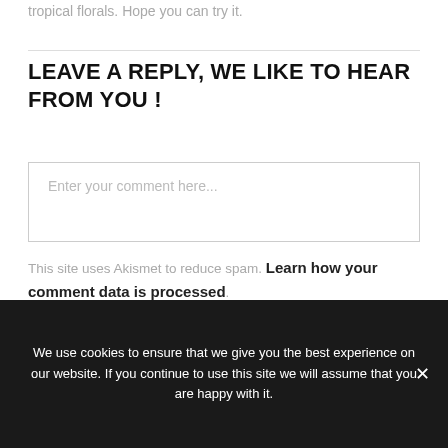tropical florals. Hope you can try it.
LEAVE A REPLY, WE LIKE TO HEAR FROM YOU !
Enter your comment here...
This site uses Akismet to reduce spam. Learn how your comment data is processed.
Privacy & Cookies: This site uses cookies. By continuing to use this website, you agree to their use.
We use cookies to ensure that we give you the best experience on our website. If you continue to use this site we will assume that you are happy with it.